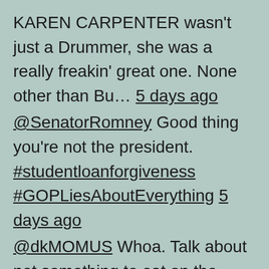KAREN CARPENTER wasn't just a Drummer, she was a really freakin' great one. None other than Bu… 5 days ago
@SenatorRomney Good thing you're not the president. #studentloanforgiveness #GOPLiesAboutEverything 5 days ago
@dkMOMUS Whoa. Talk about not something to eat on the daily! #mouthwatering 6 days ago
@FLOTUS Cats KNOW. Healing vibes @FLOTUS ! 6 days ago
RT @OccupyDemocrats: BREAKING: MAGA candidate Dr. Oz is humiliated as leaked emails reveal that he begged Jared Kushner to rush